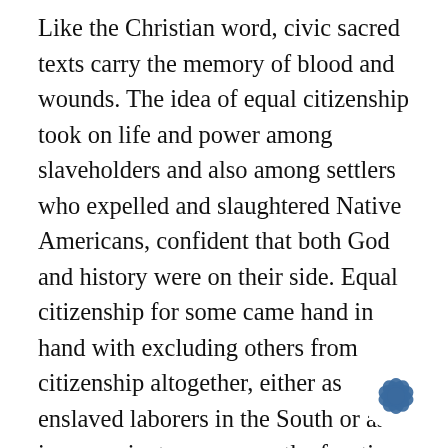Like the Christian word, civic sacred texts carry the memory of blood and wounds. The idea of equal citizenship took on life and power among slaveholders and also among settlers who expelled and slaughtered Native Americans, confident that both God and history were on their side. Equal citizenship for some came hand in hand with excluding others from citizenship altogether, either as enslaved laborers in the South or as inconvenient savages on the frontier. Yet the lived reality of political equality among the oppressors worked the ideal ever deeper into American myth, imagination, and practice. This reality drenched the fine phrases of equal citizenship in the bl of lynchings and massacres, associating them indelibly with what we have learned to call "White
[Figure (illustration): A dark blue flower/star icon in the bottom right corner]